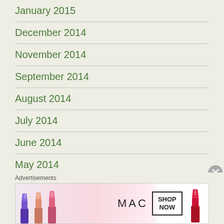January 2015
December 2014
November 2014
September 2014
August 2014
July 2014
June 2014
May 2014
April 2014
March 2014
February 2014
January 2014
Advertisements
[Figure (photo): MAC cosmetics advertisement banner showing lipsticks in purple, peach, and pink with MAC logo and SHOP NOW button and a red lipstick on the right]